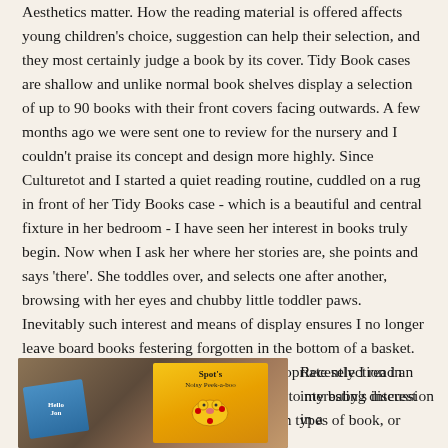Aesthetics matter. How the reading material is offered affects young children's choice, suggestion can help their selection, and they most certainly judge a book by its cover. Tidy Book cases are shallow and unlike normal book shelves display a selection of up to 90 books with their front covers facing outwards. A few months ago we were sent one to review for the nursery and I couldn't praise its concept and design more highly. Since Culturetot and I started a quiet reading routine, cuddled on a rug in front of her Tidy Books case - which is a beautiful and central fixture in her bedroom - I have seen her interest in books truly begin. Now when I ask her where her stories are, she points and says 'there'. She toddles over, and selects one after another, browsing with her eyes and chubby little toddler paws. Inevitably such interest and means of display ensures I no longer leave board books festering forgotten in the bottom of a basket. This bookcase requires that I keep an appropriate selection in steady circulation and I can respond better to my baby's interest as she displays clear preferences for certain types of book, or returns to the same cover again and again.
[Figure (photo): Photo of children's books including 'Spot's Noisy Peek-a-boo' with yellow cover and a blue book, lying on a surface]
Recently I read an interesting discussion in a